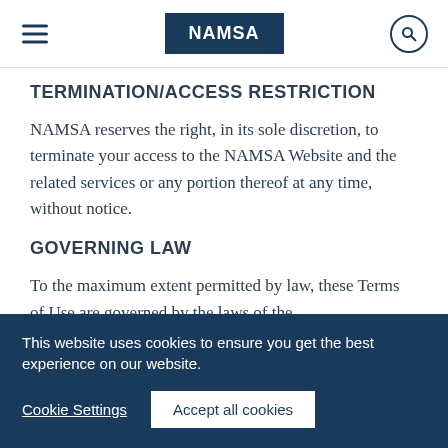NAMSA
TERMINATION/ACCESS RESTRICTION
NAMSA reserves the right, in its sole discretion, to terminate your access to the NAMSA Website and the related services or any portion thereof at any time, without notice.
GOVERNING LAW
To the maximum extent permitted by law, these Terms of Use are governed by the laws of the
This website uses cookies to ensure you get the best experience on our website.
Cookie Settings   Accept all cookies